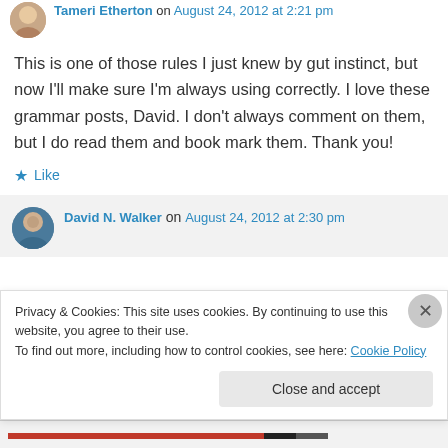Tameri Etherton on August 24, 2012 at 2:21 pm
This is one of those rules I just knew by gut instinct, but now I'll make sure I'm always using correctly. I love these grammar posts, David. I don't always comment on them, but I do read them and book mark them. Thank you!
★ Like
David N. Walker on August 24, 2012 at 2:30 pm
Privacy & Cookies: This site uses cookies. By continuing to use this website, you agree to their use.
To find out more, including how to control cookies, see here: Cookie Policy
Close and accept